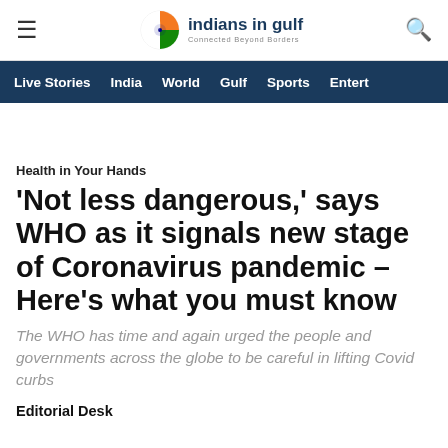indians in gulf — Connected Beyond Borders
Live Stories  India  World  Gulf  Sports  Entert
Health in Your Hands
'Not less dangerous,' says WHO as it signals new stage of Coronavirus pandemic – Here's what you must know
The WHO has time and again urged the people and governments across the globe to be careful in lifting Covid curbs
Editorial Desk